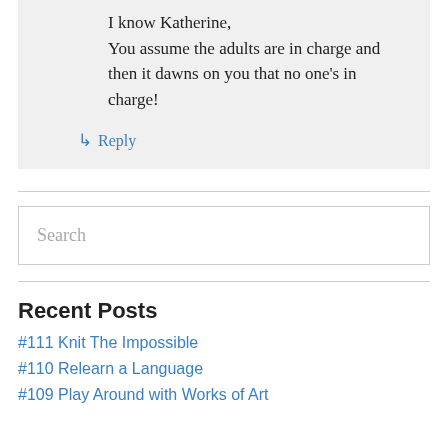I know Katherine,
You assume the adults are in charge and then it dawns on you that no one's in charge!
↳ Reply
Search
Recent Posts
#111 Knit The Impossible
#110 Relearn a Language
#109 Play Around with Works of Art